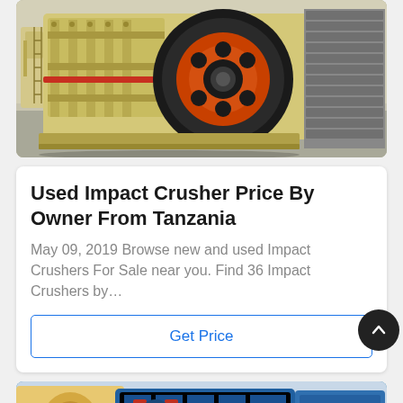[Figure (photo): Industrial impact crusher machine in yellow/beige color with large black and orange flywheel, photographed in a factory/warehouse setting]
Used Impact Crusher Price By Owner From Tanzania
May 09, 2019 Browse new and used Impact Crushers For Sale near you. Find 36 Impact Crushers by…
Get Price
[Figure (photo): Blue industrial crusher/rock crushing machine partially visible at bottom of page]